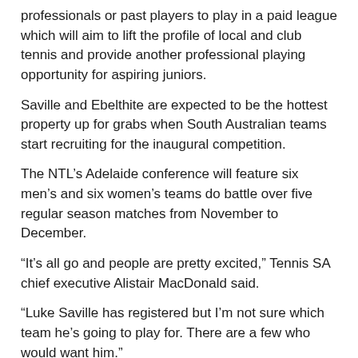professionals or past players to play in a paid league which will aim to lift the profile of local and club tennis and provide another professional playing opportunity for aspiring juniors.
Saville and Ebelthite are expected to be the hottest property up for grabs when South Australian teams start recruiting for the inaugural competition.
The NTL's Adelaide conference will feature six men's and six women's teams do battle over five regular season matches from November to December.
“It’s all go and people are pretty excited,” Tennis SA chief executive Alistair MacDonald said.
“Luke Saville has registered but I’m not sure which team he’s going to play for. There are a few who would want him.”
The final will be held on 22 December with the winner to face-off against the best teams from Victoria and Western Australia at Melbourne Park on 25-26 January 2012.
Tennis SA held a briefing session with clubs last week as player registrations opened and Saville and Ebelthite were among the first to commit.
MacDonald said Trinity Gardens, Somerton Park and Rostrevor had indicated they were likely to enter a team in the league’s debut season.